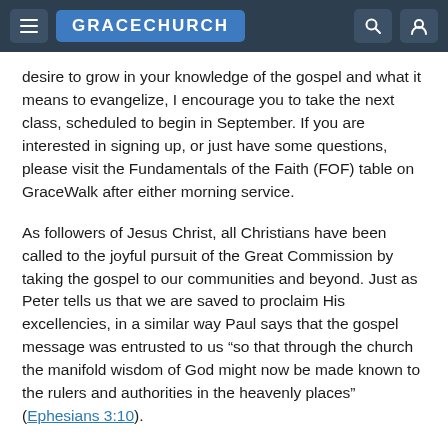GRACECHURCH
desire to grow in your knowledge of the gospel and what it means to evangelize, I encourage you to take the next class, scheduled to begin in September. If you are interested in signing up, or just have some questions, please visit the Fundamentals of the Faith (FOF) table on GraceWalk after either morning service.
As followers of Jesus Christ, all Christians have been called to the joyful pursuit of the Great Commission by taking the gospel to our communities and beyond. Just as Peter tells us that we are saved to proclaim His excellencies, in a similar way Paul says that the gospel message was entrusted to us “so that through the church the manifold wisdom of God might now be made known to the rulers and authorities in the heavenly places” (Ephesians 3:10).
As the church, it is our joyful mission to spread the good news. We pray that Grace Evangelism will be a valuable tool in equipping us to follow our Lord’s command.